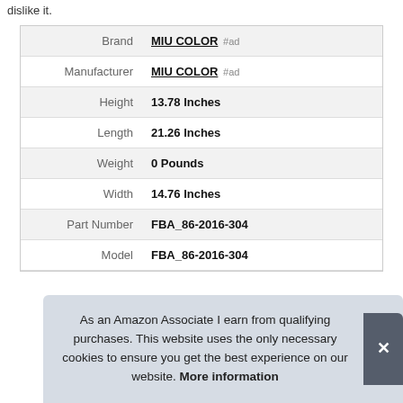dislike it.
| Brand | MIU COLOR #ad |
| Manufacturer | MIU COLOR #ad |
| Height | 13.78 Inches |
| Length | 21.26 Inches |
| Weight | 0 Pounds |
| Width | 14.76 Inches |
| Part Number | FBA_86-2016-304 |
| Model | FBA_86-2016-304 |
As an Amazon Associate I earn from qualifying purchases. This website uses the only necessary cookies to ensure you get the best experience on our website. More information